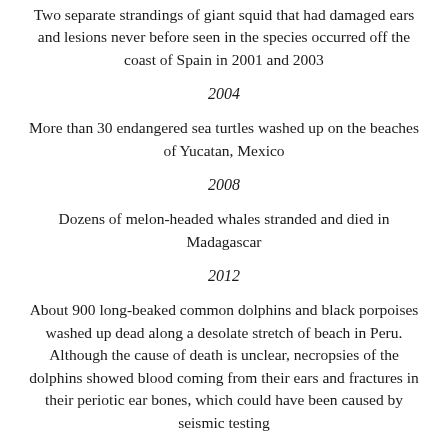Two separate strandings of giant squid that had damaged ears and lesions never before seen in the species occurred off the coast of Spain in 2001 and 2003
2004
More than 30 endangered sea turtles washed up on the beaches of Yucatan, Mexico
2008
Dozens of melon-headed whales stranded and died in Madagascar
2012
About 900 long-beaked common dolphins and black porpoises washed up dead along a desolate stretch of beach in Peru. Although the cause of death is unclear, necropsies of the dolphins showed blood coming from their ears and fractures in their periotic ear bones, which could have been caused by seismic testing
Take Action: